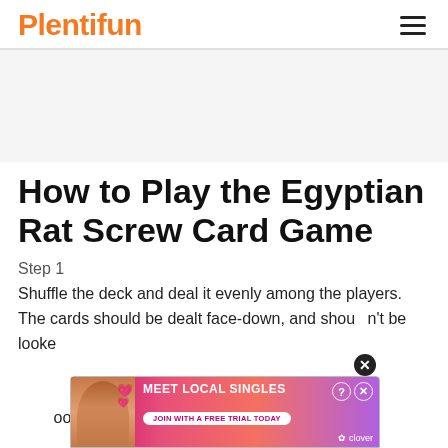Plentifun
[Figure (other): Empty advertisement placeholder area (gray background)]
How to Play the Egyptian Rat Screw Card Game
Step 1
Shuffle the deck and deal it evenly among the players. The cards should be dealt face-down, and shouldn't be looked at. The number of cards each player gets depends on the number of players. If an equal number of cards cannot be dealt, place the leftover cards at the bottom of the poor,
[Figure (screenshot): Advertisement banner: Meet Local Singles - Join with a free trial today - Clover dating app ad with woman photo and hearts]